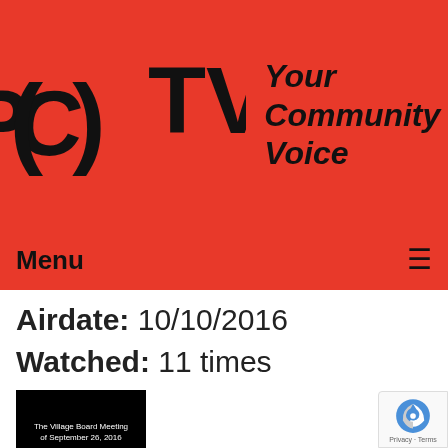[Figure (logo): PCTV logo with stylized PC in brackets and TV text, with tagline 'Your Community Voice' on red background]
Menu ≡
Airdate: 10/10/2016
Watched: 11 times
[Figure (photo): Black thumbnail image with white text reading 'The Village Board Meeting of September 26, 2016']
The Village Board Meeting of 09-26-16
Airdate: 09/26/2016